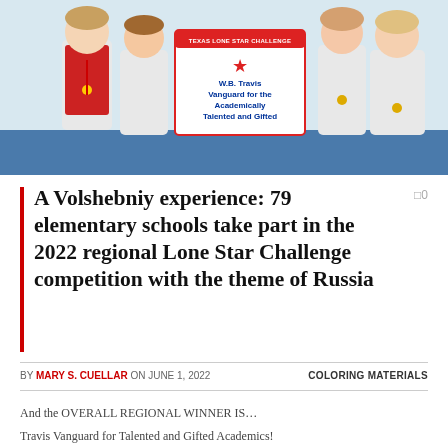[Figure (photo): Group photo of children holding a sign that reads 'Texas Lone Star Challenge - W.B. Travis Vanguard for the Academically Talented and Gifted'. Children are wearing white t-shirts and medals.]
A Volshebniy experience: 79 elementary schools take part in the 2022 regional Lone Star Challenge competition with the theme of Russia
BY MARY S. CUELLAR ON JUNE 1, 2022    COLORING MATERIALS
And the OVERALL REGIONAL WINNER IS…
Travis Vanguard for Talented and Gifted Academics!
With 79 Rollen, 130 schools, and teams Richmond 125 (RISD) and...